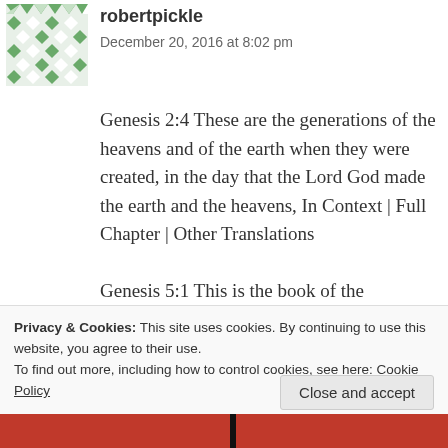[Figure (illustration): User avatar — green/white geometric diamond pattern tile]
robertpickle
December 20, 2016 at 8:02 pm
Genesis 2:4 These are the generations of the heavens and of the earth when they were created, in the day that the Lord God made the earth and the heavens, In Context | Full Chapter | Other Translations
Genesis 5:1 This is the book of the generations of Adam. In the day that God created man, in the likeness of God made he him;
Privacy & Cookies: This site uses cookies. By continuing to use this website, you agree to their use.
To find out more, including how to control cookies, see here: Cookie Policy
Close and accept